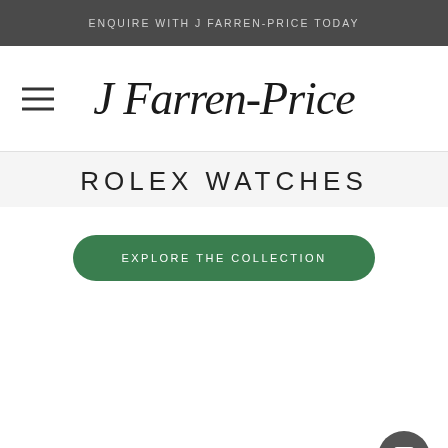ENQUIRE WITH J FARREN-PRICE TODAY
[Figure (logo): J Farren-Price cursive script logo in black italic lettering]
ROLEX WATCHES
EXPLORE THE COLLECTION
[Figure (illustration): Chat bubble icon button in dark grey circle, bottom right corner]